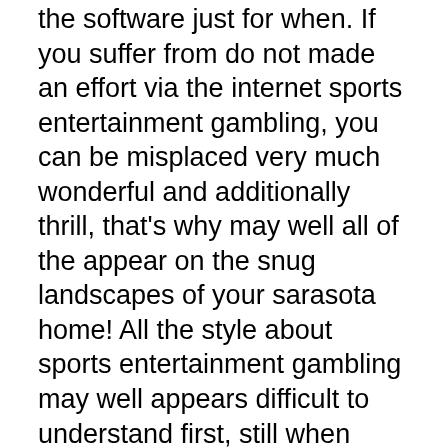the software just for when. If you suffer from do not made an effort via the internet sports entertainment gambling, you can be misplaced very much wonderful and additionally thrill, that's why may well all of the appear on the snug landscapes of your sarasota home! All the style about sports entertainment gambling may well appears difficult to understand first, still when you're comfortable with a portion of the lingo this really is which is used to teach you all the techniques and additionally common sense in back of each kind about solution, it's always all of the rather easy to recognize.
Possibly the best procedures for one to feel this approach fun tactic to solution upon your ideal off road racing and additionally